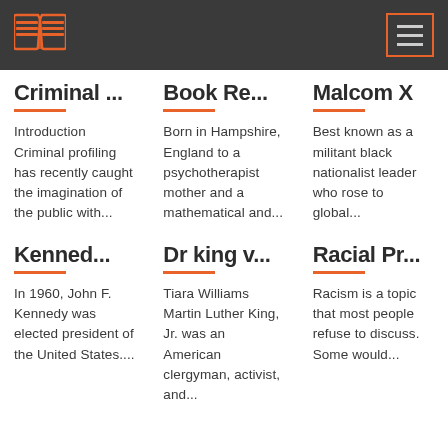Navigation bar with book logo and hamburger menu
Criminal ...
Introduction Criminal profiling has recently caught the imagination of the public with...
Book Re...
Born in Hampshire, England to a psychotherapist mother and a mathematical and...
Malcom X
Best known as a militant black nationalist leader who rose to global...
Kenned...
In 1960, John F. Kennedy was elected president of the United States....
Dr king v...
Tiara Williams Martin Luther King, Jr. was an American clergyman, activist, and...
Racial Pr...
Racism is a topic that most people refuse to discuss. Some would...